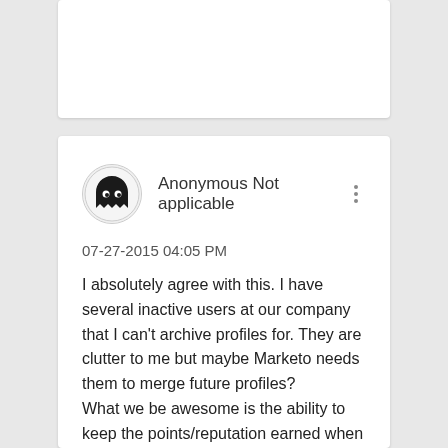[Figure (other): Empty white card at the top of the page]
Anonymous Not applicable
07-27-2015 04:05 PM
I absolutely agree with this. I have several inactive users at our company that I can't archive profiles for. They are clutter to me but maybe Marketo needs them to merge future profiles?
What we be awesome is the ability to keep the points/reputation earned when moving from one company to another. We just had someone join our team and she lost all her community reputation as it